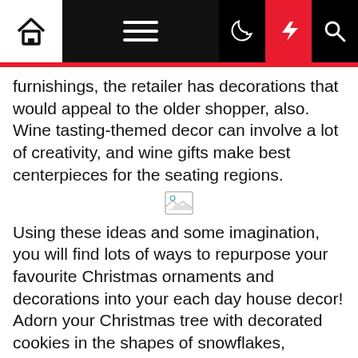Navigation bar with home, menu, dark mode, lightning, and search icons
furnishings, the retailer has decorations that would appeal to the older shopper, also. Wine tasting-themed decor can involve a lot of creativity, and wine gifts make best centerpieces for the seating regions.
[Figure (other): Broken image placeholder icon]
Using these ideas and some imagination, you will find lots of ways to repurpose your favourite Christmas ornaments and decorations into your each day house decor! Adorn your Christmas tree with decorated cookies in the shapes of snowflakes, animals or gingerbread men. I got this book years and years ago, probably ahead of I actually even began collecting blue and white ceramics, now that I feel of it. This was most likely the initial interior decor book I owned. Cultures with decorative painting